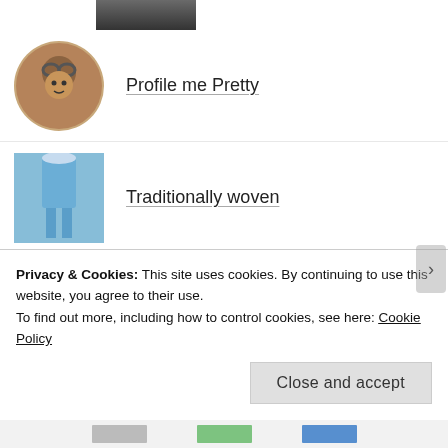[Figure (photo): Partial avatar photo at top, dark tones]
Profile me Pretty
Traditionally woven
It died.
Of Flattery & Tweaks
Hoping for Hope
Privacy & Cookies: This site uses cookies. By continuing to use this website, you agree to their use.
To find out more, including how to control cookies, see here: Cookie Policy
Close and accept